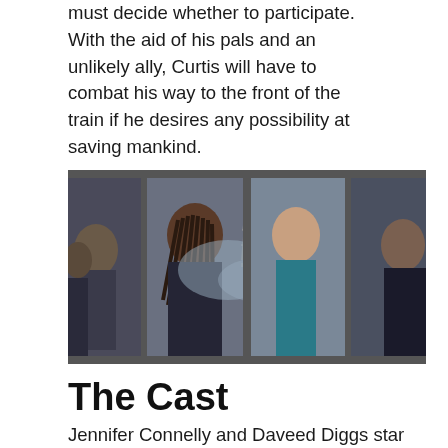must decide whether to participate. With the aid of his pals and an unlikely ally, Curtis will have to combat his way to the front of the train if he desires any possibility at saving mankind.
[Figure (photo): Promotional image for a TV show or film featuring two main characters facing each other inside a train car with the Eiffel Tower visible in the background, and additional characters visible through train windows on both sides.]
The Cast
Jennifer Connelly and Daveed Diggs star alongside Mickey Sumner, Alison Wright